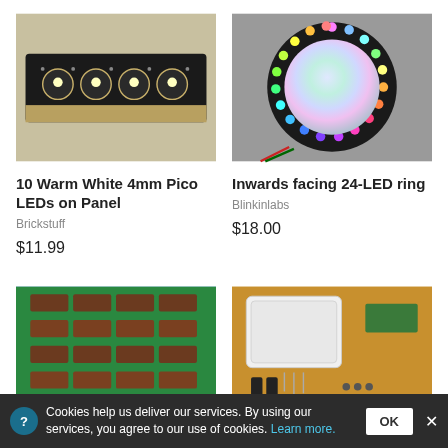[Figure (photo): 10 Warm White 4mm Pico LEDs on Panel — black PCB strip with 5 LED emitters]
[Figure (photo): Inwards facing 24-LED ring — circular LED ring with multicolor rainbow glow on gray background]
10 Warm White 4mm Pico LEDs on Panel
Brickstuff
$11.99
Inwards facing 24-LED ring
Blinkinlabs
$18.00
[Figure (photo): Green circuit board with multiple brown IC chips and DIP packages]
[Figure (photo): Electronic kit components: white plastic enclosure, small PCB, capacitors, screws on wooden surface]
Cookies help us deliver our services. By using our services, you agree to our use of cookies. Learn more.